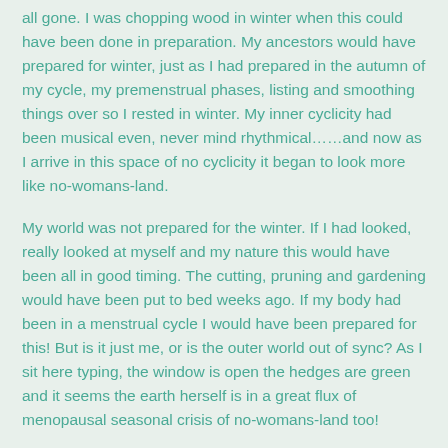all gone. I was chopping wood in winter when this could have been done in preparation. My ancestors would have prepared for winter, just as I had prepared in the autumn of my cycle, my premenstrual phases, listing and smoothing things over so I rested in winter. My inner cyclicity had been musical even, never mind rhythmical……and now as I arrive in this space of no cyclicity it began to look more like no-womans-land.
My world was not prepared for the winter. If I had looked, really looked at myself and my nature this would have been all in good timing. The cutting, pruning and gardening would have been put to bed weeks ago. If my body had been in a menstrual cycle I would have been prepared for this! But is it just me, or is the outer world out of sync? As I sit here typing, the window is open the hedges are green and it seems the earth herself is in a great flux of menopausal seasonal crisis of no-womans-land too!